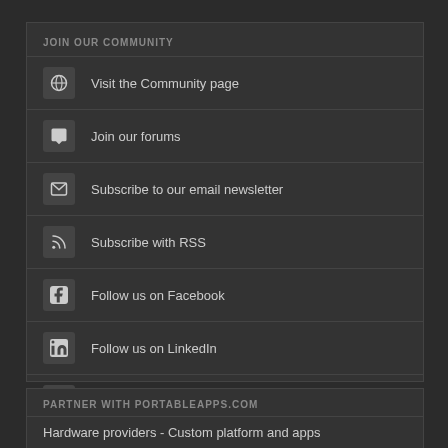JOIN OUR COMMUNITY
Visit the Community page
Join our forums
Subscribe to our email newsletter
Subscribe with RSS
Follow us on Facebook
Follow us on LinkedIn
Follow us on Twitter
PARTNER WITH PORTABLEAPPS.COM
Hardware providers - Custom platform and apps